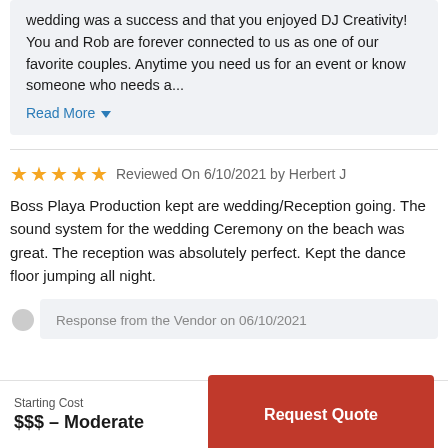wedding was a success and that you enjoyed DJ Creativity! You and Rob are forever connected to us as one of our favorite couples. Anytime you need us for an event or know someone who needs a...
Read More
Reviewed On 6/10/2021 by Herbert J
Boss Playa Production kept are wedding/Reception going. The sound system for the wedding Ceremony on the beach was great. The reception was absolutely perfect. Kept the dance floor jumping all night.
Response from the Vendor on 06/10/2021
Starting Cost
$$$ – Moderate
Request Quote